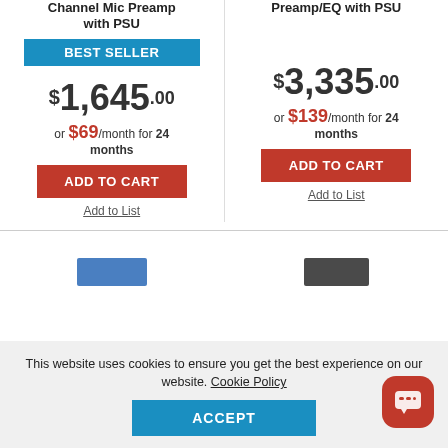Channel Mic Preamp with PSU
Preamp/EQ with PSU
BEST SELLER
$1,645.00
$3,335.00
or $69/month for 24 months
or $139/month for 24 months
ADD TO CART
ADD TO CART
Add to List
Add to List
[Figure (photo): Blue audio device partially visible]
[Figure (photo): Dark audio device partially visible]
This website uses cookies to ensure you get the best experience on our website. Cookie Policy
ACCEPT